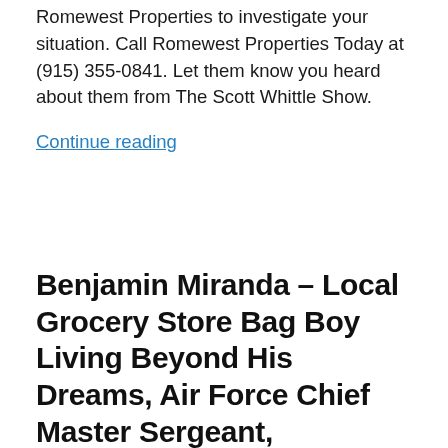Romewest Properties to investigate your situation. Call Romewest Properties Today at (915) 355-0841. Let them know you heard about them from The Scott Whittle Show.
Continue reading
Benjamin Miranda – Local Grocery Store Bag Boy Living Beyond His Dreams, Air Force Chief Master Sergeant,